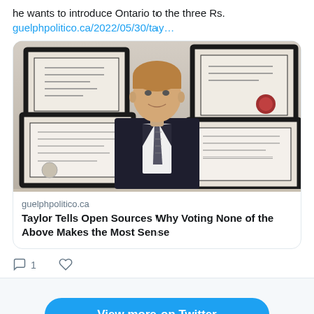he wants to introduce Ontario to the three Rs. guelphpolitico.ca/2022/05/30/tay…
[Figure (screenshot): Screenshot of a Twitter/social media card showing a man in a suit and tie sitting in front of framed certificates on a wall, with a link card to guelphpolitico.ca article titled 'Taylor Tells Open Sources Why Voting None of the Above Makes the Most Sense']
1 (comment count) ♡ (like icon)
View more on Twitter
ⓘ Learn more about privacy on Twitter